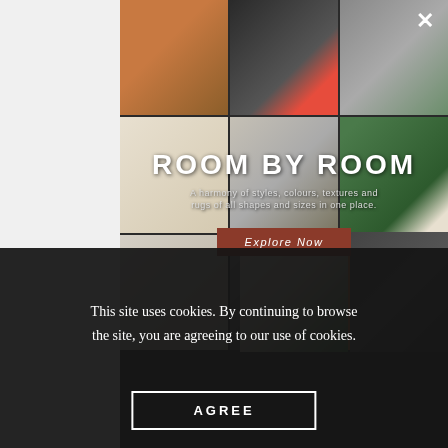[Figure (photo): A 3x3 grid collage of interior design room photos featuring various styles including an orange/terracotta living space, dark room with red seating, arched alcoves, spiral staircase, green botanical rug, cream minimalist rooms, and additional angles of the orange and green spaces.]
ROOM BY ROOM
A harmony of styles, colours, textures and rugs of all shapes and sizes in one place.
Explore Now
This site uses cookies. By continuing to browse the site, you are agreeing to our use of cookies.
AGREE